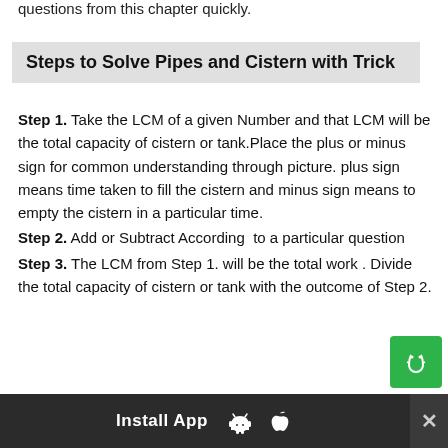questions from this chapter quickly.
Steps to Solve Pipes and Cistern with Trick
Step 1. Take the LCM of a given Number and that LCM will be the total capacity of cistern or tank.Place the plus or minus sign for common understanding through picture. plus sign means time taken to fill the cistern and minus sign means to empty the cistern in a particular time.
Step 2. Add or Subtract According to a particular question
Step 3. The LCM from Step 1. will be the total work . Divide the total capacity of cistern or tank with the outcome of Step 2.
Install App